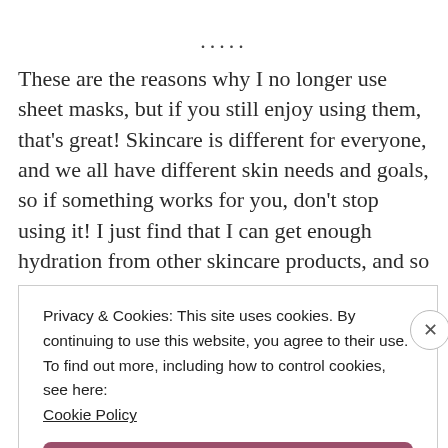.....
These are the reasons why I no longer use sheet masks, but if you still enjoy using them, that's great! Skincare is different for everyone, and we all have different skin needs and goals, so if something works for you, don't stop using it! I just find that I can get enough hydration from other skincare products, and so for me, they're not worth all the waste.
Privacy & Cookies: This site uses cookies. By continuing to use this website, you agree to their use.
To find out more, including how to control cookies, see here: Cookie Policy
Close and accept